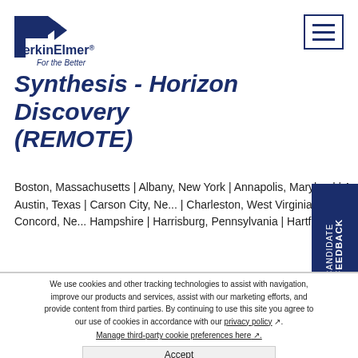[Figure (logo): PerkinElmer logo with 'P' arrow mark, bold text 'PerkinElmer' and italic tagline 'For the Better']
Synthesis - Horizon Discovery (REMOTE)
Boston, Massachusetts | Albany, New York | Annapolis, Maryland | Augusta, Maine | Austin, Texas | Carson City, Ne... | Charleston, West Virginia | Columbus, Ohio | Concord, Ne... Hampshire | Harrisburg, Pennsylvania | Hartford, Connectic... Remote
We use cookies and other tracking technologies to assist with navigation, improve our products and services, assist with our marketing efforts, and provide content from third parties. By continuing to use this site you agree to our use of cookies in accordance with our privacy policy. Manage third-party cookie preferences here.
Accept